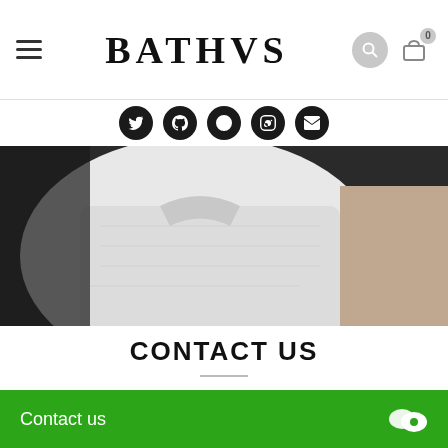BATHVS
[Figure (screenshot): Navigation header with hamburger menu, BATHVS logo, search icon, and shopping bag icon with badge showing 0]
[Figure (illustration): Social media icons row: five dark circular icons]
[Figure (photo): Hero image showing a person wearing a white t-shirt]
CONTACT US
Lorem ipsum dolor sit amet, consectetur adipisicing elit, sed do eiusmod tempor incididunt labore et dolo
Contact us